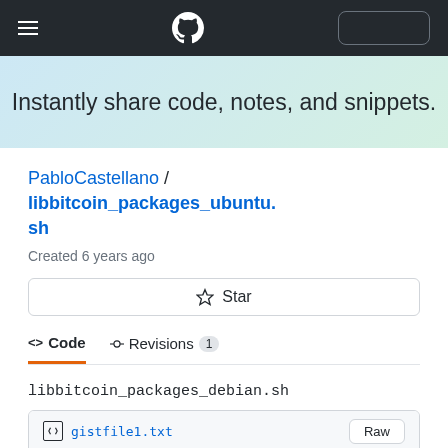GitHub navigation bar with hamburger menu, GitHub logo, and button
Instantly share code, notes, and snippets.
PabloCastellano / libbitcoin_packages_ubuntu.sh
Created 6 years ago
Star
Code  Revisions 1
libbitcoin_packages_debian.sh
gistfile1.txt  Raw
1  #